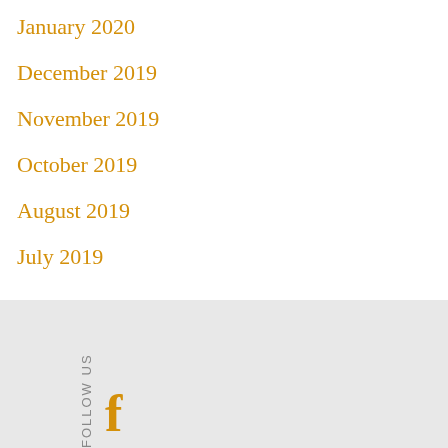January 2020
December 2019
November 2019
October 2019
August 2019
July 2019
FOLLOW US